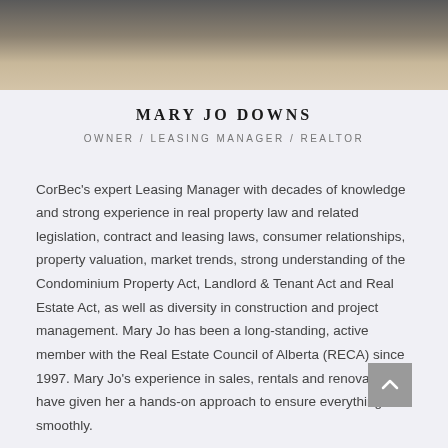[Figure (photo): Portrait photo of Mary Jo Downs, partially visible showing neck and lower face area against dark background]
MARY JO DOWNS
OWNER / LEASING MANAGER / REALTOR
CorBec's expert Leasing Manager with decades of knowledge and strong experience in real property law and related legislation, contract and leasing laws, consumer relationships, property valuation, market trends, strong understanding of the Condominium Property Act, Landlord & Tenant Act and Real Estate Act, as well as diversity in construction and project management. Mary Jo has been a long-standing, active member with the Real Estate Council of Alberta (RECA) since 1997. Mary Jo's experience in sales, rentals and renovations have given her a hands-on approach to ensure everything runs smoothly.